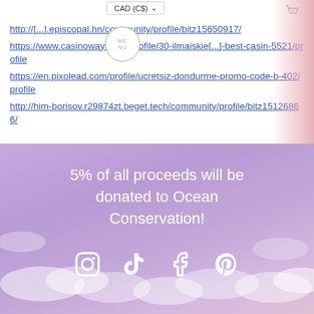https://[redacted].episcopal.hn/community/profile/bitz15650917/
https://www.casinoways.info/profile/30-ilmaiskie[...]-best-casin-5521/profile
https://en.pixolead.com/profile/ucretsiz-dondurme-promo-code-b-402/profile
http://him-borisov.r29874zt.beget.tech/community/profile/bitz15126866/
5% of all proceeds will be donated to Ocean Conservation!
[Figure (other): Social media icons: Instagram, TikTok, Facebook, Pinterest — white icons on purple background]